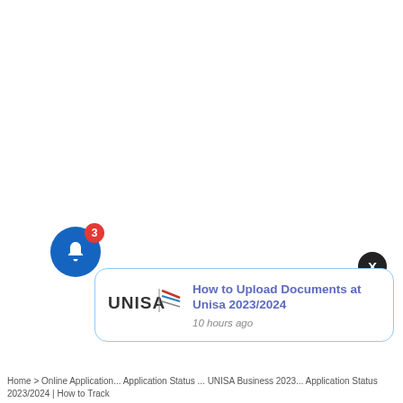[Figure (screenshot): Browser page screenshot showing mostly white/blank content area with a thin horizontal rule near the top]
[Figure (infographic): Notification popup card with UNISA logo, title 'How to Upload Documents at Unisa 2023/2024', subtitle '10 hours ago', with a blue close button (X) above and a blue bell notification icon with badge '3' to the left]
How to Upload Documents at Unisa 2023/2024
10 hours ago
Home > Online Application... Application Status ... UNISA Business 2023... Application Status 2023/2024 | How to Track